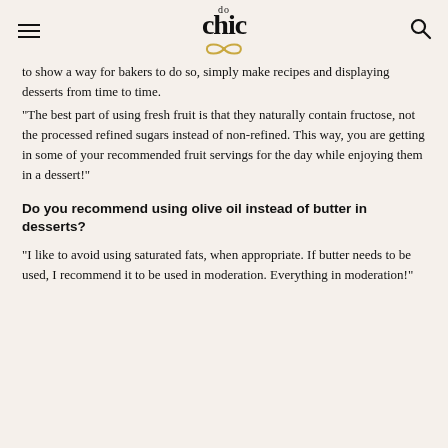do the chic
to show a way for bakers to do so, simply make recipes and displaying desserts from time to time.
"The best part of using fresh fruit is that they naturally contain fructose, not the processed refined sugars instead of non-refined. This way, you are getting in some of your recommended fruit servings for the day while enjoying them in a dessert!"
Do you recommend using olive oil instead of butter in desserts?
"I like to avoid using saturated fats, when appropriate. If butter needs to be used, I recommend it to be used in moderation. Everything in moderation!"